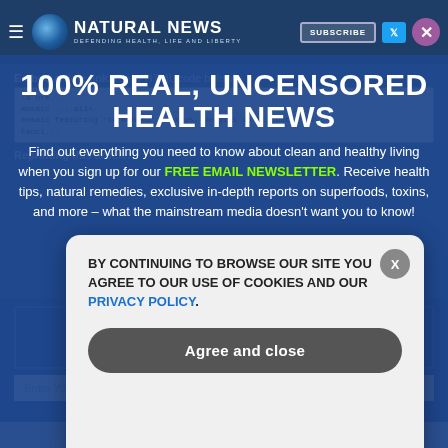Natural News — DEFENDING HEALTH, LIFE AND LIBERTY
100% REAL, UNCENSORED HEALTH NEWS
Find out everything you need to know about clean and healthy living when you sign up for our FREE EMAIL NEWSLETTER. Receive health tips, natural remedies, exclusive in-depth reports on superfoods, toxins, and more – what the mainstream media doesn't want you to know!
Embed article link: (copy HTML code below):
<a href...mosaic featuring 'tormented' monkeys, beagles in 'tribute' to Fauci
Reprinting this article:
GET THE WORD OUT — Enter Your Email — DELIVERED
Enter Your Email... We respect...
BY CONTINUING TO BROWSE OUR SITE YOU AGREE TO OUR USE OF COOKIES AND OUR PRIVACY POLICY.
Agree and close